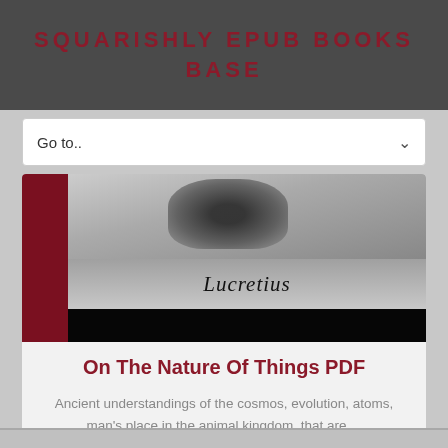SQUARISHLY EPUB BOOKS BASE
Go to..
[Figure (photo): Book cover image showing a bust/figure at top, the author name 'Lucretius' in italic serif font in the middle on a grey gradient background, and a black band at the bottom. A dark red vertical bar on the left side.]
On The Nature Of Things PDF
Ancient understandings of the cosmos, evolution, atoms, man's place in the animal kingdom, that are ...